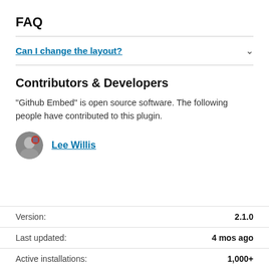FAQ
Can I change the layout?
Contributors & Developers
“Github Embed” is open source software. The following people have contributed to this plugin.
Lee Willis
|  |  |
| --- | --- |
| Version: | 2.1.0 |
| Last updated: | 4 mos ago |
| Active installations: | 1,000+ |